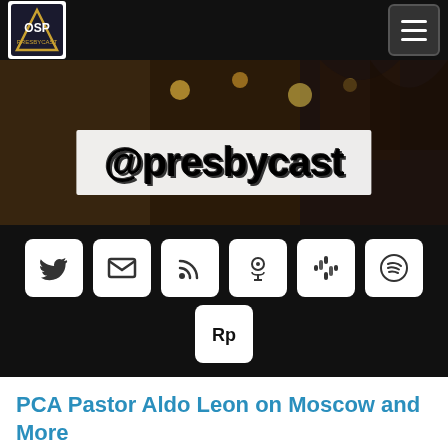OSP @presbycast navigation header
[Figure (screenshot): Hero banner image of a bar/pub interior with warm amber lighting, gothic arches, and bottles on shelves. Overlaid white box with large bold text '@presbycast']
[Figure (infographic): Black background social media icon bar with 7 icons: Twitter, Email/Envelope, RSS feed, Apple Podcasts, Google Podcasts, Spotify, and Pocket Casts (Pocketcasts)]
PCA Pastor Aldo Leon on Moscow and More
[Figure (screenshot): Podcast player preview widget showing @PRESBYCAST label and episode title 'PCA Pastor Aldo Leon on Moscow and More' with a play button and progress bar]